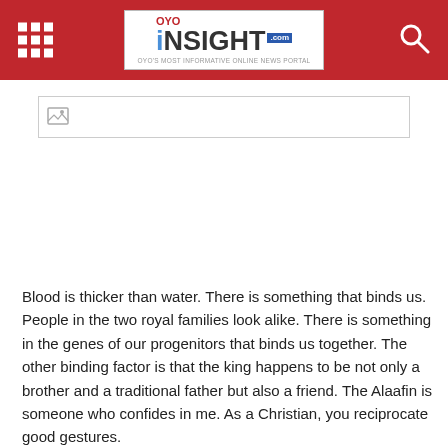OYO INSIGHT .com - OYO's Most Informative Online News Portal
[Figure (other): Advertisement banner placeholder with broken image icon]
Blood is thicker than water. There is something that binds us. People in the two royal families look alike. There is something in the genes of our progenitors that binds us together. The other binding factor is that the king happens to be not only a brother and a traditional father but also a friend. The Alaafin is someone who confides in me. As a Christian, you reciprocate good gestures.